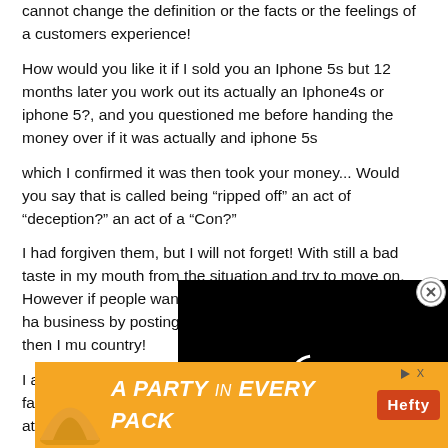cannot change the definition or the facts or the feelings of a customers experience!
How would you like it if I sold you an Iphone 5s but 12 months later you work out its actually an Iphone4s or iphone 5?, and you questioned me before handing the money over if it was actually and iphone 5s
which I confirmed it was then took your money... Would you say that is called being “ripped off” an act of “deception?” an act of a “Con?”
I had forgiven them, but I will not forget! With still a bad taste in my mouth from the situation and try to move on. However if people want to tell and that I have unfairly and ha business by posting up facts a about the experience then I mu country!
[Figure (screenshot): Black video player overlay with circular loading spinner (white circle outline on black background)]
I am prepared to humbly accept (as hard as it is given the facts tion at de that
[Figure (screenshot): Orange advertisement banner for Hefty brand: 'A PARTY in EVERY PACK' with Hefty logo and play/close buttons]